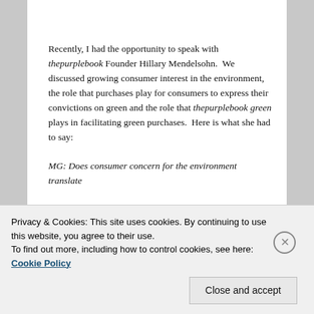Recently, I had the opportunity to speak with thepurplebook Founder Hillary Mendelsohn.  We discussed growing consumer interest in the environment, the role that purchases play for consumers to express their convictions on green and the role that thepurplebook green plays in facilitating green purchases.  Here is what she had to say:
MG: Does consumer concern for the environment translate
Privacy & Cookies: This site uses cookies. By continuing to use this website, you agree to their use.
To find out more, including how to control cookies, see here: Cookie Policy